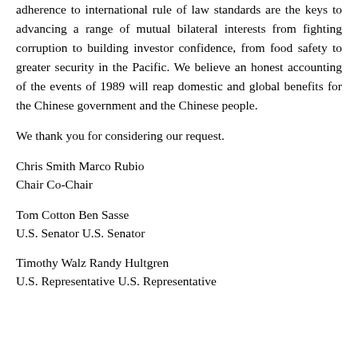adherence to international rule of law standards are the keys to advancing a range of mutual bilateral interests from fighting corruption to building investor confidence, from food safety to greater security in the Pacific. We believe an honest accounting of the events of 1989 will reap domestic and global benefits for the Chinese government and the Chinese people.
We thank you for considering our request.
Chris Smith Marco Rubio
Chair Co-Chair
Tom Cotton Ben Sasse
U.S. Senator U.S. Senator
Timothy Walz Randy Hultgren
U.S. Representative U.S. Representative